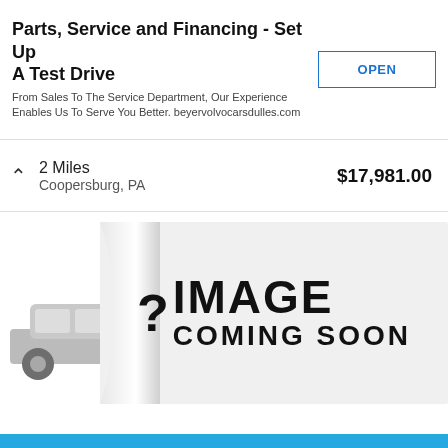Parts, Service and Financing - Set Up A Test Drive
From Sales To The Service Department, Our Experience Enables Us To Serve You Better. beyervolvocarsdulles.com
OPEN
2 Miles
Coopersburg, PA
$17,981.00
[Figure (illustration): Image coming soon placeholder with a car silhouette on the left and a peeling paper effect revealing the text '? IMAGE COMING SOON' in bold black letters on a light grey background.]